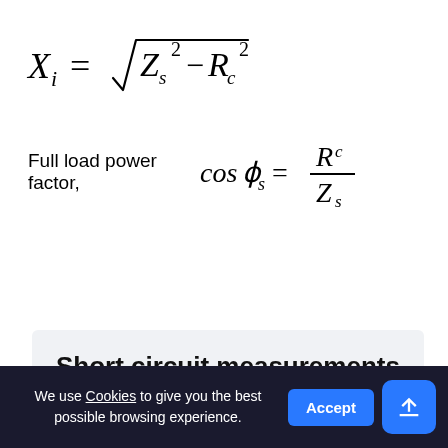Short circuit measurements / calculations
The variac is increased until the maximum primary current is reached, with the secondary short circuit. Readings of E_s, I_s, and P_s are
We use Cookies to give you the best possible browsing experience.